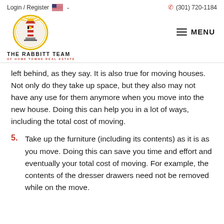Login / Register  (301) 720-1184
[Figure (logo): The Rabbitt Team of Home Towne Real Estate lighthouse logo with circular border]
left behind, as they say. It is also true for moving houses. Not only do they take up space, but they also may not have any use for them anymore when you move into the new house. Doing this can help you in a lot of ways, including the total cost of moving.
5. Take up the furniture (including its contents) as it is as you move. Doing this can save you time and effort and eventually your total cost of moving. For example, the contents of the dresser drawers need not be removed while on the move.